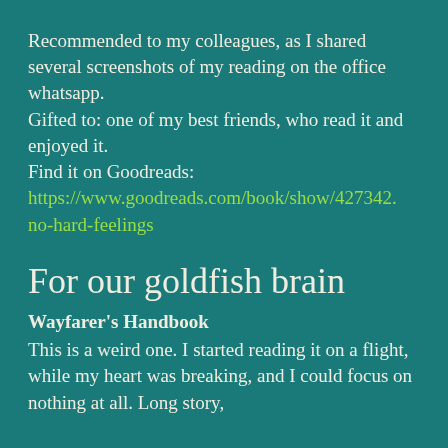Recommended to my colleagues, as I shared several screenshots of my reading on the office whatsapp.
Gifted to: one of my best friends, who read it and enjoyed it.
Find it on Goodreads:
https://www.goodreads.com/book/show/427342.no-hard-feelings
For our goldfish brain
Wayfarer's Handbook
This is a weird one. I started reading it on a flight, while my heart was breaking, and I could focus on nothing at all. Long story,